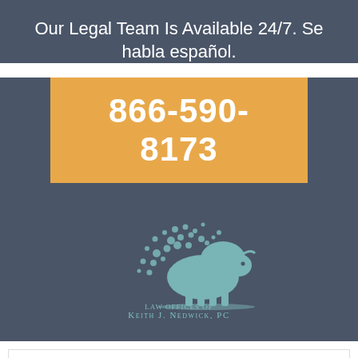Our Legal Team Is Available 24/7. Se habla español.
866-590-8173
[Figure (logo): Law Offices of Keith J. Nedwick, P.C. — bison logo with dot-scatter effect, teal/mint color on dark background]
September
[Figure (photo): Bottom partial image with warm brown/gold tones, showing partial heading text 'How Long ... d You Wait' with menu button overlay and accessibility button]